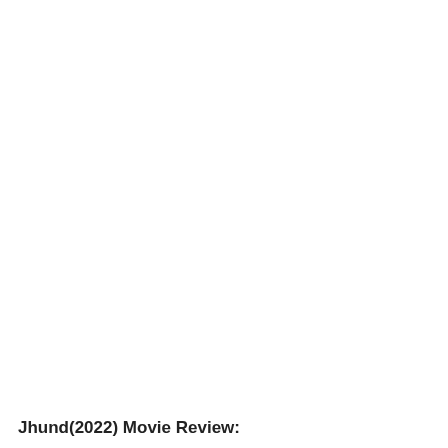[Figure (screenshot): A browser dialog overlay with a close button (×) in the upper right corner, appearing as a modal or popup with a light gray bar and an X button.]
Jhund(2022) Movie Review: